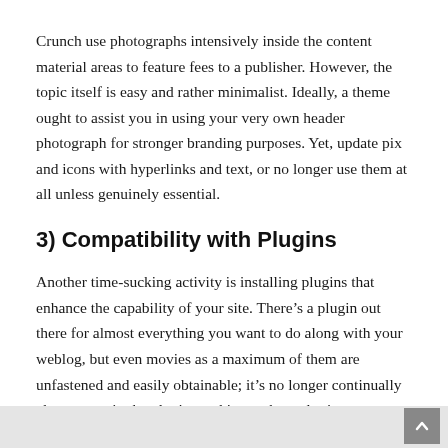Crunch use photographs intensively inside the content material areas to feature fees to a publisher. However, the topic itself is easy and rather minimalist. Ideally, a theme ought to assist you in using your very own header photograph for stronger branding purposes. Yet, update pix and icons with hyperlinks and text, or no longer use them at all unless genuinely essential.
3) Compatibility with Plugins
Another time-sucking activity is installing plugins that enhance the capability of your site. There’s a plugin out there for almost everything you want to do along with your weblog, but even movies as a maximum of them are unfastened and easily obtainable; it’s no longer continually clean to put in the plugins and insert the codes into your WordPress theme.